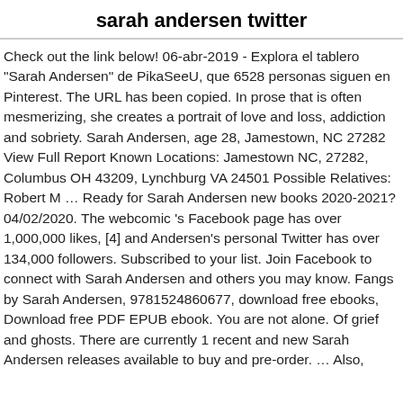sarah andersen twitter
Check out the link below! 06-abr-2019 - Explora el tablero "Sarah Andersen" de PikaSeeU, que 6528 personas siguen en Pinterest. The URL has been copied. In prose that is often mesmerizing, she creates a portrait of love and loss, addiction and sobriety. Sarah Andersen, age 28, Jamestown, NC 27282 View Full Report Known Locations: Jamestown NC, 27282, Columbus OH 43209, Lynchburg VA 24501 Possible Relatives: Robert M … Ready for Sarah Andersen new books 2020-2021? 04/02/2020. The webcomic 's Facebook page has over 1,000,000 likes, [4] and Andersen's personal Twitter has over 134,000 followers. Subscribed to your list. Join Facebook to connect with Sarah Andersen and others you may know. Fangs by Sarah Andersen, 9781524860677, download free ebooks, Download free PDF EPUB ebook. You are not alone. Of grief and ghosts. There are currently 1 recent and new Sarah Andersen releases available to buy and pre-order. … Also,